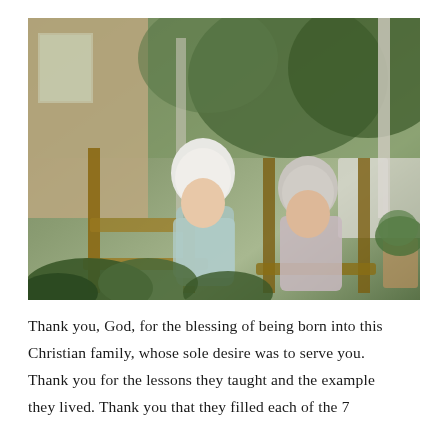[Figure (photo): An elderly couple sitting in wooden rocking chairs on a front porch. The woman on the left has white hair and is wearing a light blue patterned top. The man on the right is wearing a light pink/lavender shirt. They are surrounded by green plants and foliage. A house with brick exterior and white railings is visible in the background, along with trees.]
Thank you, God, for the blessing of being born into this Christian family, whose sole desire was to serve you. Thank you for the lessons they taught and the example they lived. Thank you that they filled each of the 7